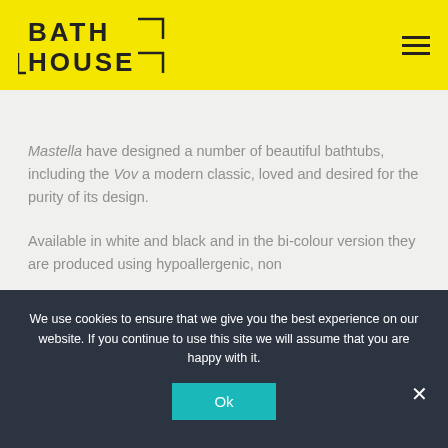[Figure (logo): Bath House logo — text 'BATH HOUSE' with geometric bracket shapes, dark text on yellow background]
Mastella have designed a number of beautiful bathtubs, including the Vov a modern classic, loved and desired for the purity of its design.
Available in white and black and in the bi-colour version they are produced using hypoallergenic, non
We use cookies to ensure that we give you the best experience on our website. If you continue to use this site we will assume that you are happy with it.